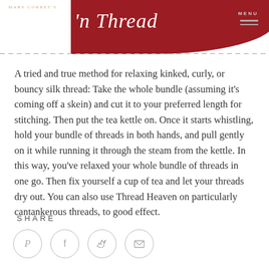Mary Corbet's Needle 'n Thread
A tried and true method for relaxing kinked, curly, or bouncy silk thread: Take the whole bundle (assuming it's coming off a skein) and cut it to your preferred length for stitching. Then put the tea kettle on. Once it starts whistling, hold your bundle of threads in both hands, and pull gently on it while running it through the steam from the kettle. In this way, you've relaxed your whole bundle of threads in one go. Then fix yourself a cup of tea and let your threads dry out. You can also use Thread Heaven on particularly cantankerous threads, to good effect.
SHARE
[Figure (other): Four circular social share icons for Pinterest, Facebook, Twitter, and email]